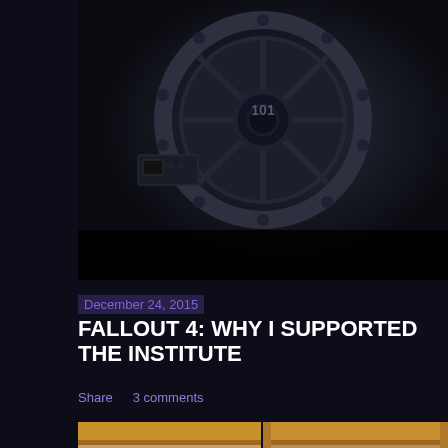[Figure (photo): Fallout 4 vault door numbered 101, dark metallic sci-fi aesthetic]
December 24, 2015
FALLOUT 4: WHY I SUPPORTED THE INSTITUTE
Share   3 comments
[Figure (photo): Meme showing two photos of a golden retriever dog under furniture — as a small puppy asleep, and as a grown dog cramped under the same furniture — with text 'GROWING UP SUCKS']